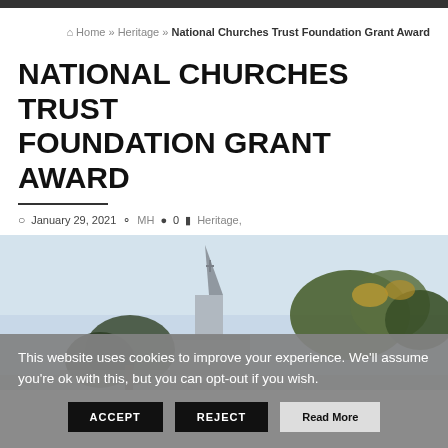Home » Heritage » National Churches Trust Foundation Grant Award
NATIONAL CHURCHES TRUST FOUNDATION GRANT AWARD
January 29, 2021  MH  0  Heritage,
[Figure (photo): Photograph of a church steeple against a light blue sky, with trees visible in the background.]
This website uses cookies to improve your experience. We'll assume you're ok with this, but you can opt-out if you wish.